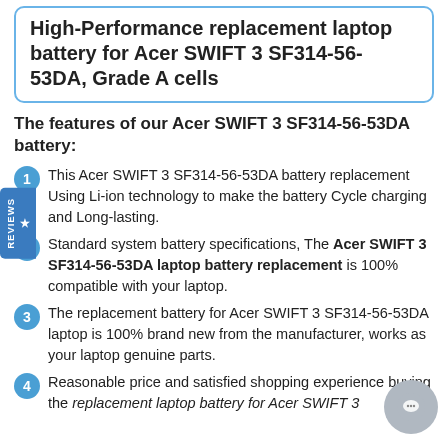High-Performance replacement laptop battery for Acer SWIFT 3 SF314-56-53DA, Grade A cells
The features of our Acer SWIFT 3 SF314-56-53DA battery:
This Acer SWIFT 3 SF314-56-53DA battery replacement Using Li-ion technology to make the battery Cycle charging and Long-lasting.
Standard system battery specifications, The Acer SWIFT 3 SF314-56-53DA laptop battery replacement is 100% compatible with your laptop.
The replacement battery for Acer SWIFT 3 SF314-56-53DA laptop is 100% brand new from the manufacturer, works as your laptop genuine parts.
Reasonable price and satisfied shopping experience buying the replacement laptop battery for Acer SWIFT 3